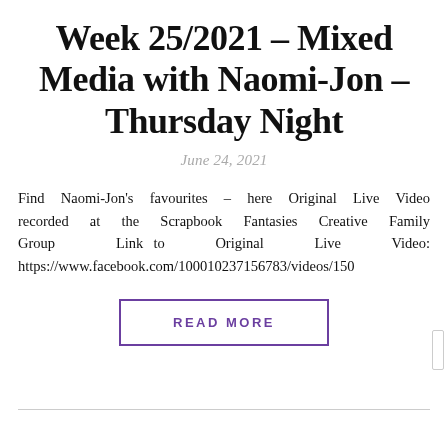Week 25/2021 – Mixed Media with Naomi-Jon – Thursday Night
June 24, 2021
Find Naomi-Jon's favourites – here Original Live Video recorded at the Scrapbook Fantasies Creative Family Group  Link to Original Live Video: https://www.facebook.com/100010237156783/videos/150